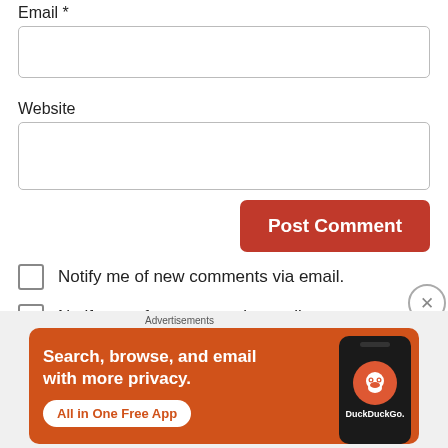Email *
[Figure (screenshot): Empty email input text field]
Website
[Figure (screenshot): Empty website input text field]
[Figure (screenshot): Post Comment button (red, rounded)]
Notify me of new comments via email.
Notify me of new posts via email.
[Figure (screenshot): Close (X) button circle]
Advertisements
[Figure (infographic): DuckDuckGo advertisement banner: 'Search, browse, and email with more privacy. All in One Free App' with phone and DuckDuckGo logo.]